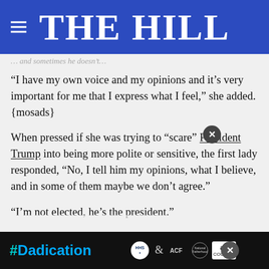THE HILL
“I have my own voice and my opinions and it’s very important for me that I express what I feel,” she added.{mosads}
When pressed if she was trying to “scare” President Trump into being more polite or sensitive, the first lady responded, “No, I tell him my opinions, what I believe, and in some of them maybe we don’t agree.”
“I’m not elected, he’s the president.”
When asked by reporters if she had ever requested that h... st lady la...
[Figure (screenshot): Ad bar at the bottom: black background, #Dadication text in cyan/blue, logos for HHS, ACF, and Ad Council on a dark background, with an X close button.]